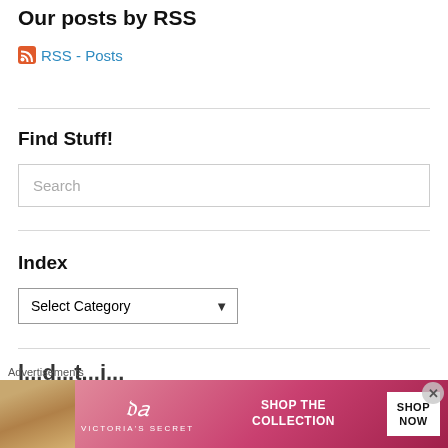Our posts by RSS
RSS - Posts
Find Stuff!
Search
Index
Select Category
Advertisements
[Figure (photo): Victoria's Secret advertisement banner with a woman's photo on the left, VS logo in center, 'SHOP THE COLLECTION' text, and a 'SHOP NOW' button on the right.]